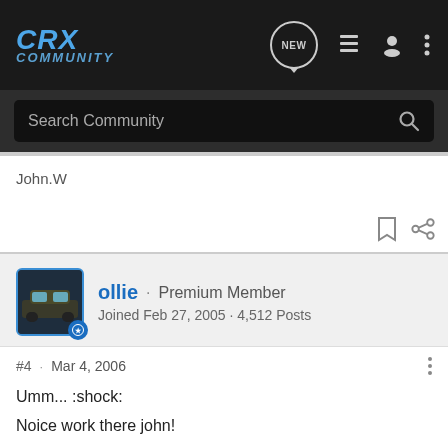CRX Community
Search Community
John.W
ollie · Premium Member
Joined Feb 27, 2005 · 4,512 Posts
#4 · Mar 4, 2006
Umm... :shock:
Noice work there john!
I'm going to guess and say thats a JZ80(supra) engine?